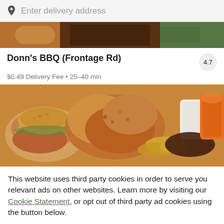Enter delivery address
[Figure (photo): Partial view of food dishes at the top of the page]
Donn's BBQ (Frontage Rd)
4.7
$0.49 Delivery Fee • 25–40 min
[Figure (photo): Close-up photo of fried chicken, a burger, onion rings, and dipping sauces including BBQ sauce and an orange dip]
This website uses third party cookies in order to serve you relevant ads on other websites. Learn more by visiting our Cookie Statement, or opt out of third party ad cookies using the button below.
OPT OUT
GOT IT